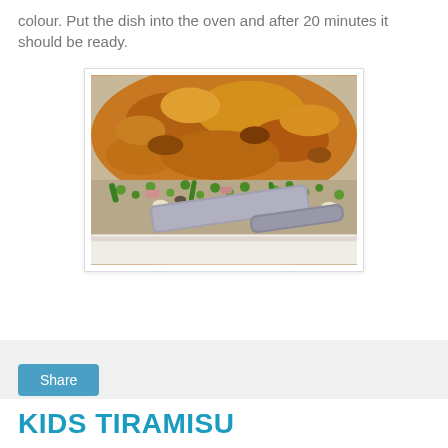colour. Put the dish into the oven and after 20 minutes it should be ready.
[Figure (photo): A baked casserole dish with golden-brown pastry top, partially served with a spatula/spoon, showing vegetable and meat filling underneath including peas, asparagus, and ham in a white casserole dish.]
[Figure (other): Share button bar with light grey background and a blue 'Share' button]
KIDS TIRAMISU